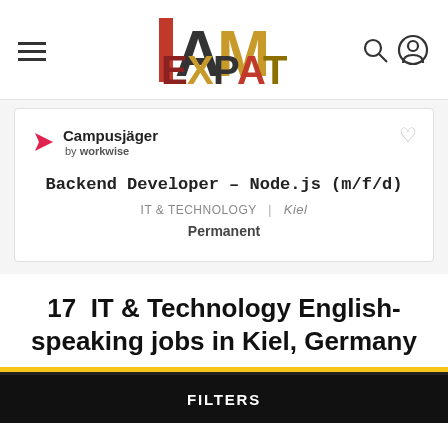IAmExpat — navigation header with hamburger menu, IAmExpat logo, search and account icons
[Figure (logo): Campusjäger by workwise logo — pink paper plane icon with bold text]
Backend Developer – Node.js (m/f/d)
IT & TECHNOLOGY | Kiel
Permanent
17 IT & Technology English-speaking jobs in Kiel, Germany
FILTERS